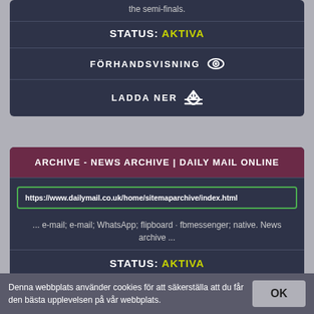the semi-finals.
STATUS: AKTIVA
FÖRHANDSVISNING
LADDA NER
ARCHIVE - NEWS ARCHIVE | DAILY MAIL ONLINE
https://www.dailymail.co.uk/home/sitemaparchive/index.html
... e-mail; e-mail; WhatsApp; flipboard · fbmessenger; native. News archive ...
STATUS: AKTIVA
FÖRHANDSVISNING
Denna webbplats använder cookies för att säkerställa att du får den bästa upplevelsen på vår webbplats.